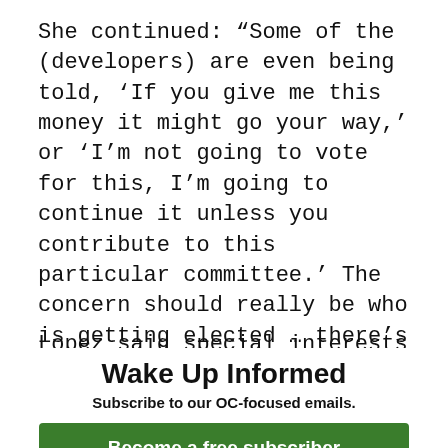She continued: “Some of the (developers) are even being told, ‘If you give me this money it might go your way,’ or ‘I’m not going to vote for this, I’m going to continue it unless you contribute to this particular committee.’ The concern should really be who is getting elected … there’s a briber and bribee … it’s not just the dark money – follow the committees.”
Lopez said special interests are there
Wake Up Informed
Subscribe to our OC-focused emails.
Become a free subscriber
Not today